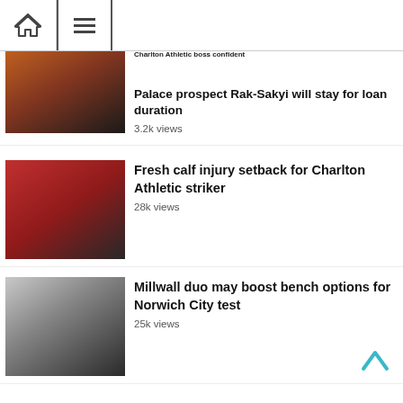Navigation bar with home and menu icons
Charlton Athletic boss confident Palace prospect Rak-Sakyi will stay for loan duration
3.2k views
[Figure (photo): Young Black footballer in orange jersey looking sideways]
[Figure (photo): Black footballer in dark training vest on football pitch with red stands behind]
Fresh calf injury setback for Charlton Athletic striker
28k views
[Figure (photo): Bearded white footballer in dark Millwall shirt]
Millwall duo may boost bench options for Norwich City test
25k views